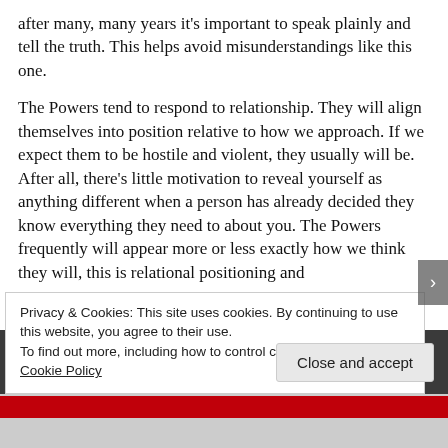after many, many years it’s important to speak plainly and tell the truth. This helps avoid misunderstandings like this one.
The Powers tend to respond to relationship. They will align themselves into position relative to how we approach. If we expect them to be hostile and violent, they usually will be. After all, there’s little motivation to reveal yourself as anything different when a person has already decided they know everything they need to about you. The Powers frequently will appear more or less exactly how we think they will, this is relational positioning and
Privacy & Cookies: This site uses cookies. By continuing to use this website, you agree to their use.
To find out more, including how to control cookies, see here: Cookie Policy
Close and accept